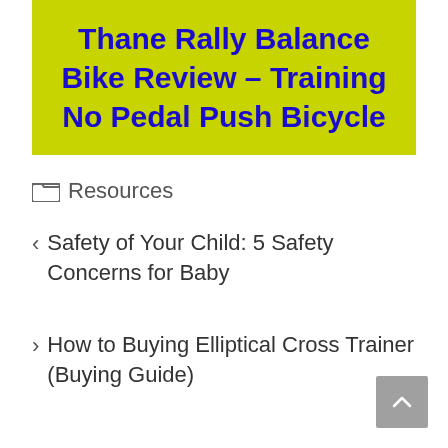[Figure (illustration): Yellow-green banner with bold blue text reading 'Thane Rally Balance Bike Review – Training No Pedal Push Bicycle']
Resources
Safety of Your Child: 5 Safety Concerns for Baby
How to Buying Elliptical Cross Trainer (Buying Guide)